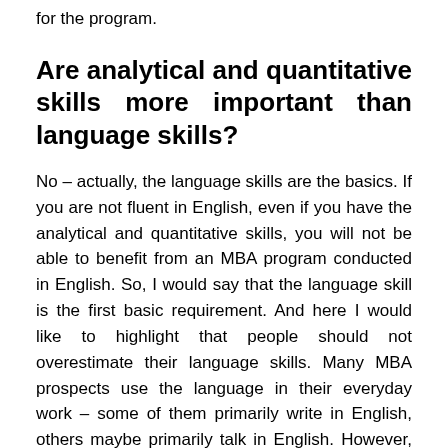for the program.
Are analytical and quantitative skills more important than language skills?
No – actually, the language skills are the basics. If you are not fluent in English, even if you have the analytical and quantitative skills, you will not be able to benefit from an MBA program conducted in English. So, I would say that the language skill is the first basic requirement. And here I would like to highlight that people should not overestimate their language skills. Many MBA prospects use the language in their everyday work – some of them primarily write in English, others maybe primarily talk in English. However, going to graduate school to study in English requires fluency and a more sophisticated vocabulary. MBA participants should be able to read, process and analyze long texts in different subject areas.